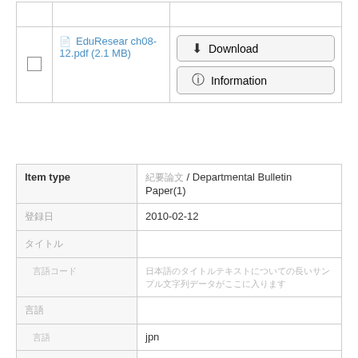|  | File |  | Actions |
| --- | --- | --- | --- |
| ☐ | EduResearch08-12.pdf (2.1 MB) |  | Download / Information |
| Item type |  |
| --- | --- |
| Item type | 紀要論文 / Departmental Bulletin Paper(1) |
| 登録日 | 2010-02-12 |
| タイトル |  |
| 言語コード | 日本語タイトルの長い文字列テキストのサンプル |
| 言語 |  |
| 言語コード | jpn |
| 資源タイプ |  |
| 識別子 | http://purl.org/coar/resource_type/c_6501 |